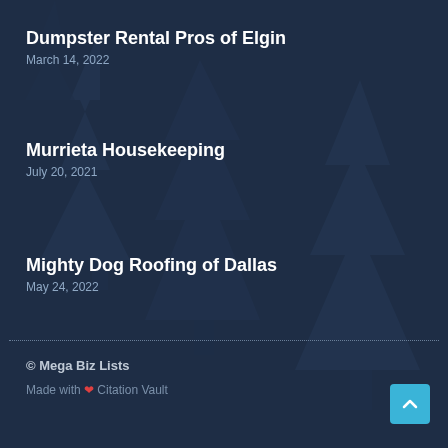Dumpster Rental Pros of Elgin
March 14, 2022
Murrieta Housekeeping
July 20, 2021
Mighty Dog Roofing of Dallas
May 24, 2022
© Mega Biz Lists
Made with ❤ Citation Vault